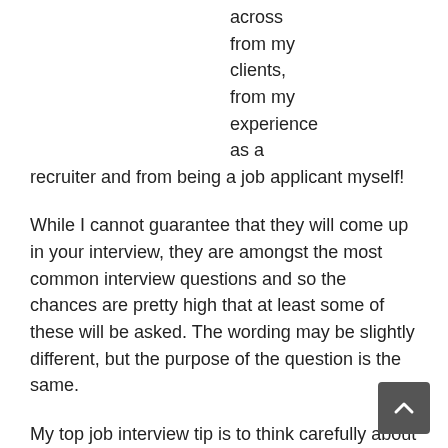across from my clients, from my experience as a recruiter and from being a job applicant myself!
While I cannot guarantee that they will come up in your interview, they are amongst the most common interview questions and so the chances are pretty high that at least some of these will be asked. The wording may be slightly different, but the purpose of the question is the same.
My top job interview tip is to think carefully about what the recruiter is trying to get at when they ask these questions and plan your answers accordingly.
Here I have given you some tips and hints to help you when answering interview questions, to help you to understand what the questions are really about and